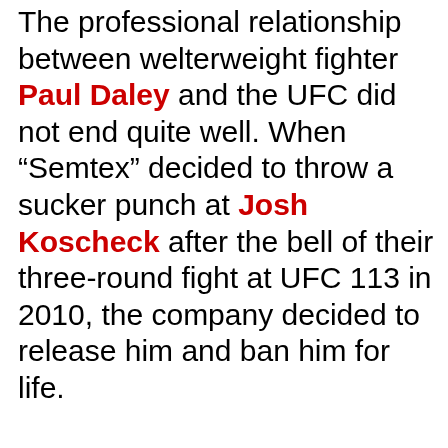The professional relationship between welterweight fighter Paul Daley and the UFC did not end quite well. When "Semtex" decided to throw a sucker punch at Josh Koscheck after the bell of their three-round fight at UFC 113 in 2010, the company decided to release him and ban him for life.